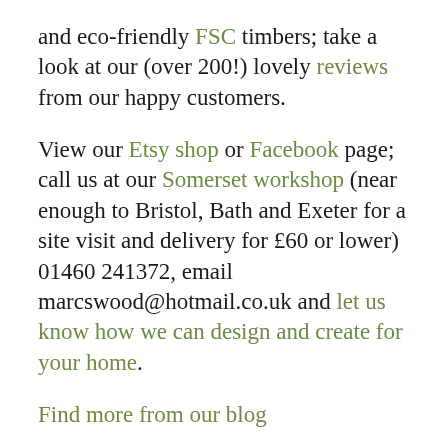and eco-friendly FSC timbers; take a look at our (over 200!) lovely reviews from our happy customers.
View our Etsy shop or Facebook page; call us at our Somerset workshop (near enough to Bristol, Bath and Exeter for a site visit and delivery for £60 or lower) 01460 241372, email marcswood@hotmail.co.uk and let us know how we can design and create for your home.
Find more from our blog